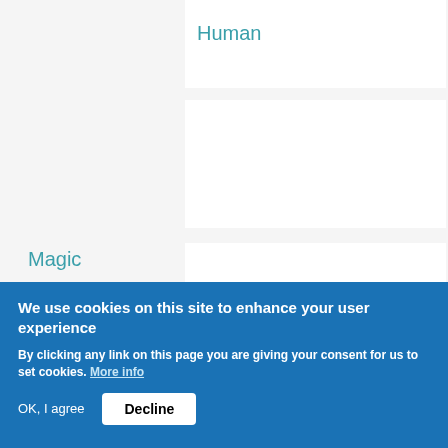Human
Magic
We use cookies on this site to enhance your user experience
By clicking any link on this page you are giving your consent for us to set cookies. More info
OK, I agree
Decline